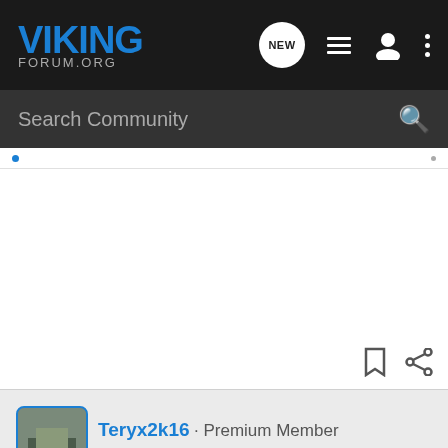VIKING FORUM.ORG
Search Community
Teryx2k16 · Premium Member
Joined Jul 20, 2013 · 3,378 Posts
#5 · Mar 1, 2014